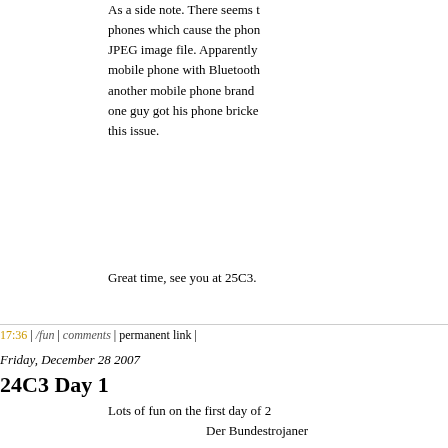As a side note. There seems to be something with phones which cause the phone to crash or create a bad JPEG image file. Apparently sending a picture from a mobile phone with Bluetooth to an iPhone from another mobile phone brand (Nokia) can brick it. And one guy got his phone bricked and his friend also had this issue.
Great time, see you at 25C3.
17:36 | /fun | comments | permanent link |
Friday, December 28 2007
24C3 Day 1
Lots of fun on the first day of 2
Der Bundestrojaner
TOR
Tracker fahrn
DNS Rebinding And Mo
Kelly Shortridge
Archive
February 2021 (2)
August 2019 (1)
January 2019 (1)
November 2018 (1)
June 2018 (1)
April 2018 (1)
January 2018 (1)
October 2017 (1)
September 2017 (2)
August 2017 (2)
July 2017 (1)
June 2017 (1)
May 2017 (1)
April 2017 (1)
March 2017 (2)
February 2017 (1)
January 2017 (1)
December 2016 (2)
November 2016 (2)